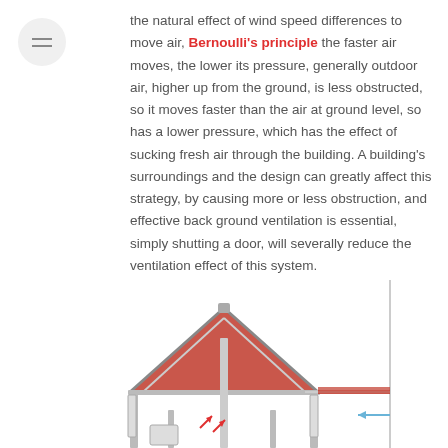the natural effect of wind speed differences to move air, Bernoulli's principle the faster air moves, the lower its pressure, generally outdoor air, higher up from the ground, is less obstructed, so it moves faster than the air at ground level, so has a lower pressure, which has the effect of sucking fresh air through the building. A building's surroundings and the design can greatly affect this strategy, by causing more or less obstruction, and effective back ground ventilation is essential, simply shutting a door, will severally reduce the ventilation effect of this system.
[Figure (engineering-diagram): Cross-section diagram of a building with a pitched roof showing ventilation airflow. Red roof tiles visible at the peak and eaves. Arrows inside the building indicate upward airflow movement. A horizontal arrow on the right shows incoming air from outside. Structural columns visible on left and right sides.]